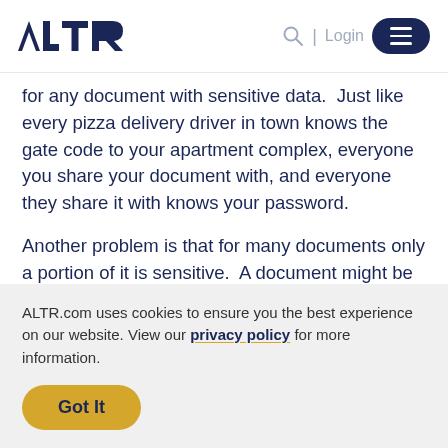ALTR | Login [menu]
for any document with sensitive data.  Just like every pizza delivery driver in town knows the gate code to your apartment complex, everyone you share your document with, and everyone they share it with knows your password.
Another problem is that for many documents only a portion of it is sensitive.  A document might be 90%
ALTR.com uses cookies to ensure you the best experience on our website. View our privacy policy for more information.
Got It